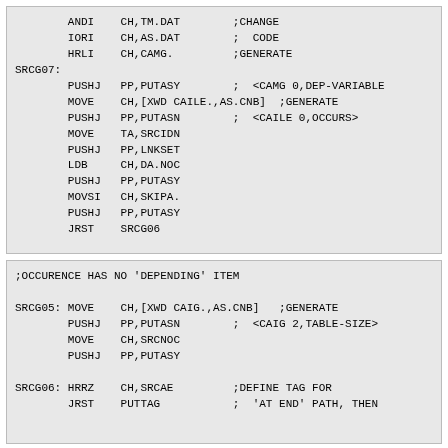ANDI    CH,TM.DAT        ;CHANGE
        IORI    CH,AS.DAT        ;  CODE
        HRLI    CH,CAMG.         ;GENERATE
SRCG07:
        PUSHJ   PP,PUTASY        ;  <CAMG 0,DEP-VARIABLE
        MOVE    CH,[XWD CAILE.,AS.CNB]  ;GENERATE
        PUSHJ   PP,PUTASN        ;  <CAILE 0,OCCURS>
        MOVE    TA,SRCIDN
        PUSHJ   PP,LNKSET
        LDB     CH,DA.NOC
        PUSHJ   PP,PUTASY
        MOVSI   CH,SKIPA.
        PUSHJ   PP,PUTASY
        JRST    SRCG06
;OCCURENCE HAS NO 'DEPENDING' ITEM

SRCG05: MOVE    CH,[XWD CAIG.,AS.CNB]   ;GENERATE
        PUSHJ   PP,PUTASN        ;  <CAIG 2,TABLE-SIZE>
        MOVE    CH,SRCNOC
        PUSHJ   PP,PUTASY

SRCG06: HRRZ    CH,SRCAE         ;DEFINE TAG FOR
        JRST    PUTTAG           ;  'AT END' PATH, THEN
;SEARCH HAS 'ALL' OPTION